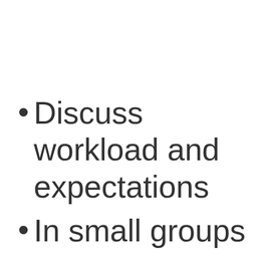Discuss workload and expectations
In small groups